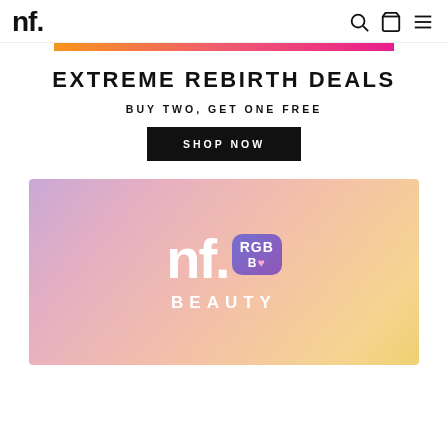nf. [logo] [search icon] [cart icon] [menu icon]
[Figure (infographic): Horizontal gradient bar going from orange to pink/magenta]
EXTREME REBIRTH DEALS
BUY TWO, GET ONE FREE
SHOP NOW
[Figure (illustration): NF. Beauty banner with pink-to-orange gradient background, large white NF. logo, RGB badge with purple gradient, and BEAUTY text below]